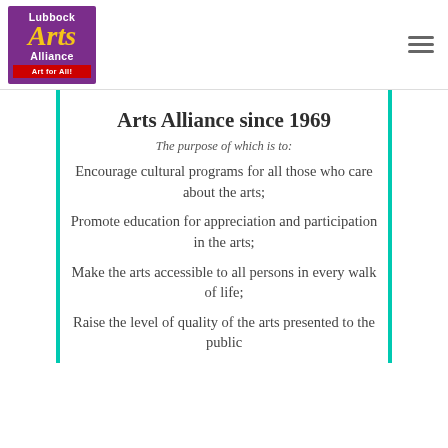[Figure (logo): Lubbock Arts Alliance logo: purple background with yellow italic 'Arts' text, white 'Lubbock' and 'Alliance' text, red bar with 'Art for All!']
Arts Alliance since 1969
The purpose of which is to:
Encourage cultural programs for all those who care about the arts;
Promote education for appreciation and participation in the arts;
Make the arts accessible to all persons in every walk of life;
Raise the level of quality of the arts presented to the public